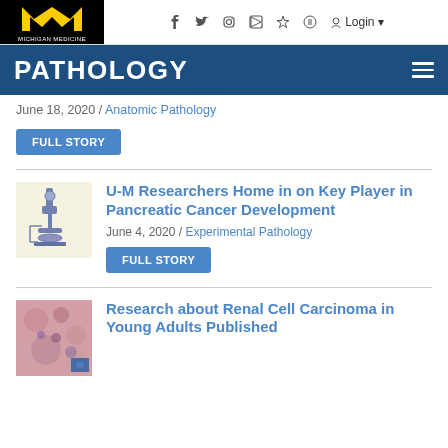[Figure (logo): Michigan Medicine block M logo, black background with yellow M and white text]
PATHOLOGY
June 18, 2020 / Anatomic Pathology
FULL STORY
[Figure (illustration): Microscope illustration on light yellow background]
U-M Researchers Home in on Key Player in Pancreatic Cancer Development
June 4, 2020 / Experimental Pathology
FULL STORY
[Figure (photo): Histology slide image of renal cell tissue, pink/purple tones]
Research about Renal Cell Carcinoma in Young Adults Published